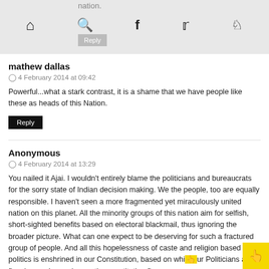nation.
Reply
mathew dallas
4 February 2014 at 09:42
Powerful...what a stark contrast, it is a shame that we have people like these as heads of this Nation.
Reply
Anonymous
4 February 2014 at 13:29
You nailed it Ajai. I wouldn't entirely blame the politicians and bureaucrats for the sorry state of Indian decision making. We the people, too are equally responsible. I haven't seen a more fragmented yet miraculously united nation on this planet. All the minority groups of this nation aim for selfish, short-sighted benefits based on electoral blackmail, thus ignoring the broader picture. What can one expect to be deserving for such a fractured group of people. And all this hopelessness of caste and religion based politics is enshrined in our Constitution, based on which our Politicians are fleecing us. I say, change the constitution first